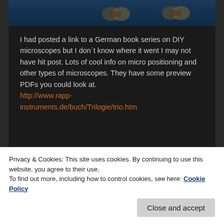[Figure (photo): Partial image strip at top showing microscope or optical instruments on dark blue background]
I had posted a link to a German book series on DIY microscopes but I don´t know where it went I may not have hit post. Lots of cool info on micro positioning and other types of microscopes. They have some preview PDFs you could look at.
http://www.rapp-instruments.de/buch/Trilogie/trio.htm
★ Like
Reply ↓
Privacy & Cookies: This site uses cookies. By continuing to use this website, you agree to their use.
To find out more, including how to control cookies, see here: Cookie Policy
Close and accept